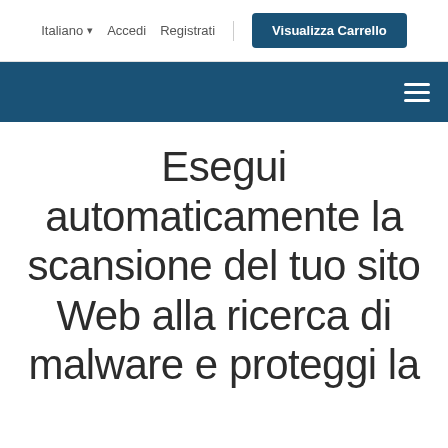Italiano  Accedi  Registrati  Visualizza Carrello
Esegui automaticamente la scansione del tuo sito Web alla ricerca di malware e proteggi la